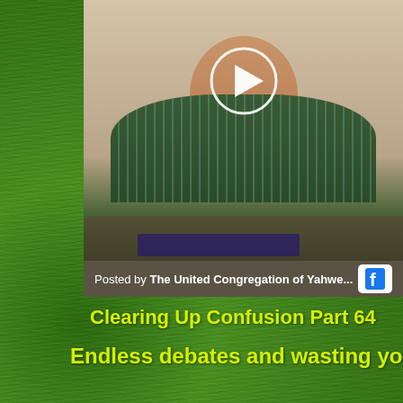[Figure (screenshot): Facebook video thumbnail showing a man in a striped green polo shirt sitting at a desk reading a book. A play button circle is overlaid in the center. At the bottom: 'Posted by The United Congregation of Yahwe...' with a Facebook icon.]
Posted by The United Congregation of Yahwe...
Clearing Up Confusion Part 64
Endless debates and wasting your breath